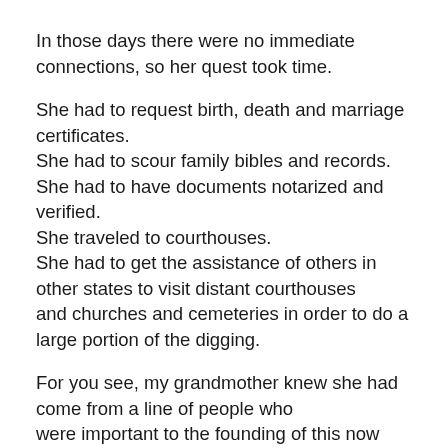In those days there were no immediate connections, so her quest took time.
She had to request birth, death and marriage certificates. She had to scour family bibles and records. She had to have documents notarized and verified. She traveled to courthouses. She had to get the assistance of others in other states to visit distant courthouses and churches and cemeteries in order to do a large portion of the digging.
For you see, my grandmother knew she had come from a line of people who were important to the founding of this now great nation and she needed the proper